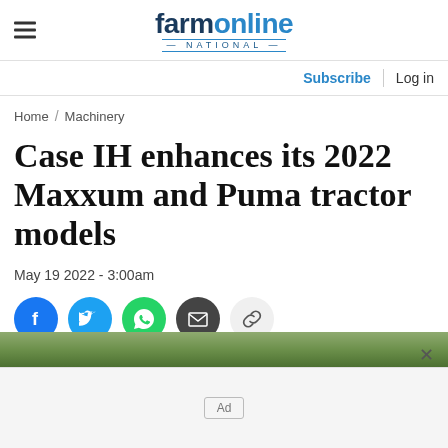farmonline NATIONAL
Subscribe | Log in
Home / Machinery
Case IH enhances its 2022 Maxxum and Puma tractor models
May 19 2022 - 3:00am
[Figure (infographic): Social share buttons: Facebook, Twitter, WhatsApp, Email, Link]
[Figure (photo): Partial crop image strip at bottom of page]
Ad